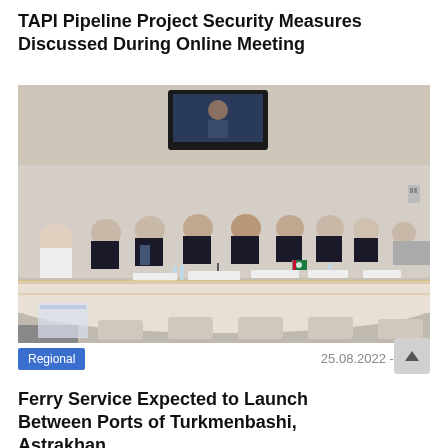TAPI Pipeline Project Security Measures Discussed During Online Meeting
[Figure (photo): Group of men in suits seated at a long conference table in a meeting room. A TV screen is mounted on the wall in the background showing a video participant. Name placards are in front of each person. A small Turkmenistan flag is visible on the table.]
Regional
25.08.2022 - 14:55
Ferry Service Expected to Launch Between Ports of Turkmenbashi, Astrakhan